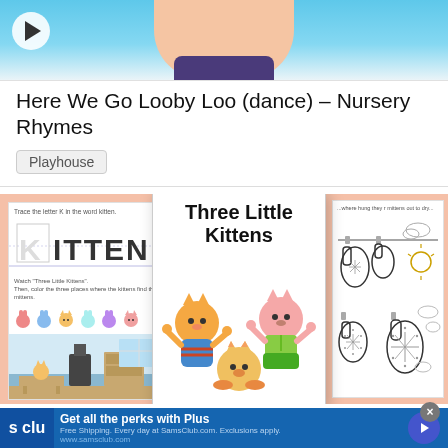[Figure (screenshot): Video thumbnail showing a person's neck/chest area in a blue background, with a play button in the top-left corner. A nursery rhymes video preview.]
Here We Go Looby Loo (dance) – Nursery Rhymes
Playhouse
[Figure (illustration): Three Little Kittens educational content collage: left panel shows a 'KITTEN' tracing worksheet with mittens and a room scene; center shows the book cover 'Three Little Kittens' with cartoon kittens dancing; right panel shows a coloring page with mittens on a clothesline.]
[Figure (screenshot): Advertisement banner for Sam's Club: 'Get all the perks with Plus. Free Shipping. Every day at SamsClub.com. Exclusions apply. www.samsclub.com' with Sam's Club logo and a blue arrow button.]